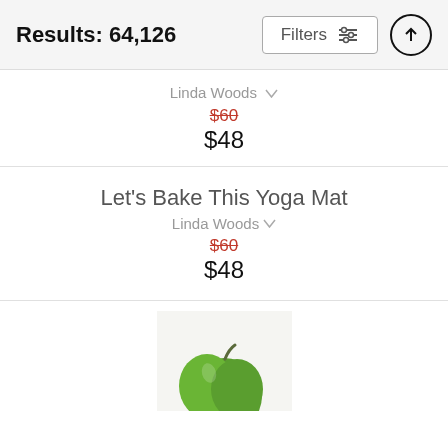Results: 64,126
Filters
Linda Woods
$60 (original price, strikethrough)
$48
Let's Bake This Yoga Mat
Linda Woods
$60 (original price, strikethrough)
$48
[Figure (illustration): Partial product image showing a green apple illustration on a light background]